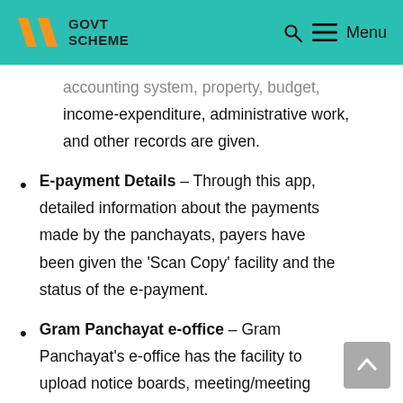GOVT SCHEME
accounting system, property, budget, income-expenditure, administrative work, and other records are given.
E-payment Details – Through this app, detailed information about the payments made by the panchayats, payers have been given the 'Scan Copy' facility and the status of the e-payment.
Gram Panchayat e-office – Gram Panchayat's e-office has the facility to upload notice boards, meeting/meeting details of the Panchayat, geo-tagging of